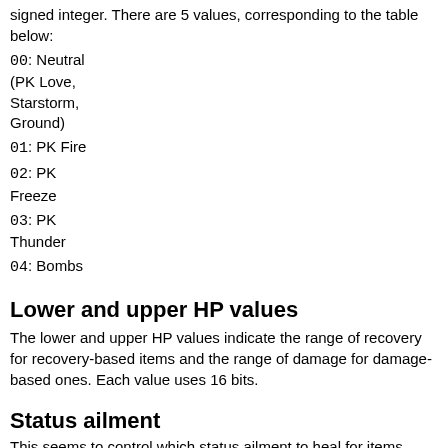signed integer. There are 5 values, corresponding to the table below:
00: Neutral (PK Love, Starstorm, Ground)
01: PK Fire
02: PK Freeze
03: PK Thunder
04: Bombs
Lower and upper HP values
The lower and upper HP values indicate the range of recovery for recovery-based items and the range of damage for damage-based ones. Each value uses 16 bits.
Status ailment
This seems to control which status ailment to heal for items such as the